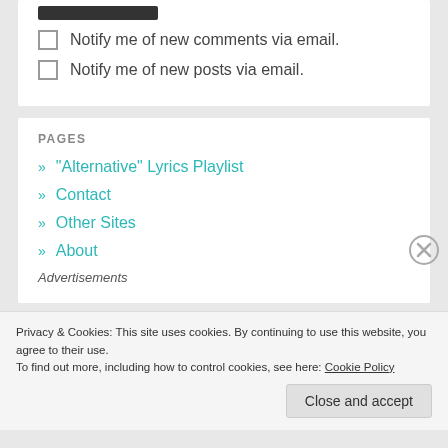Notify me of new comments via email.
Notify me of new posts via email.
PAGES
» "Alternative" Lyrics Playlist
» Contact
» Other Sites
» About
Advertisements
Privacy & Cookies: This site uses cookies. By continuing to use this website, you agree to their use.
To find out more, including how to control cookies, see here: Cookie Policy
Close and accept